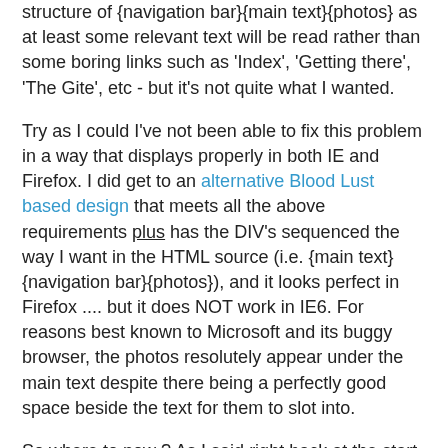structure of {navigation bar}{main text}{photos} as at least some relevant text will be read rather than some boring links such as 'Index', 'Getting there', 'The Gite', etc - but it's not quite what I wanted.
Try as I could I've not been able to fix this problem in a way that displays properly in both IE and Firefox. I did get to an alternative Blood Lust based design that meets all the above requirements plus has the DIV's sequenced the way I want in the HTML source (i.e. {main text}{navigation bar}{photos}), and it looks perfect in Firefox .... but it does NOT work in IE6. For reasons best known to Microsoft and its buggy browser, the photos resolutely appear under the main text despite there being a perfectly good space beside the text for them to slot into.
So where to now ? As I said right back at the start of this long diatribe, I've got fedup with all the time that I've spent chasing for that elusive, perfect, CSS layout that does everything I want. I can't find it, or at least the only design I can find doesn't work in IE ... and since 78% of my site visitors over the last month were using IE6, I can't really